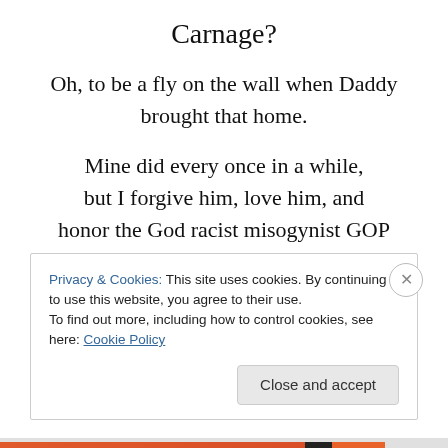Carnage?
Oh, to be a fly on the wall when Daddy brought that home.
Mine did every once in a while, but I forgive him, love him, and honor the God racist misogynist GOP sellouts claim to worship by staying small under Him or Her.
By listening.
Privacy & Cookies: This site uses cookies. By continuing to use this website, you agree to their use. To find out more, including how to control cookies, see here: Cookie Policy